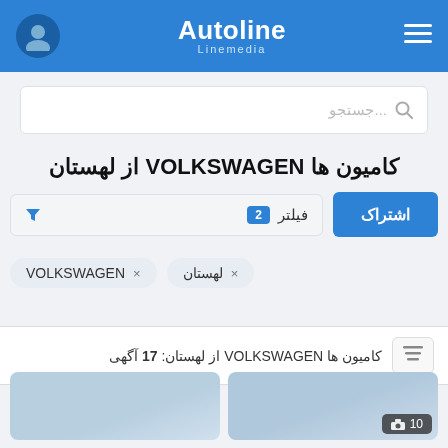[Figure (screenshot): Autoline website header with blue background, user avatar icon on left, Autoline Linemedia logo in center, hamburger menu on right]
جستجو...
کامیون ها VOLKSWAGEN از لهستان
اشتراک
فیلتر 2
VOLKSWAGEN ×
لهستان ×
کامیون ها VOLKSWAGEN از لهستان: 17 آگهی
[Figure (photo): Two partial vehicle listing thumbnail images at bottom of page, right image shows camera icon with number 10]